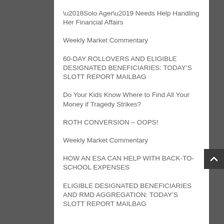‘Solo Ager’ Needs Help Handling Her Financial Affairs
Weekly Market Commentary
60-DAY ROLLOVERS AND ELIGIBLE DESIGNATED BENEFICIARIES: TODAY’S SLOTT REPORT MAILBAG
Do Your Kids Know Where to Find All Your Money if Tragedy Strikes?
ROTH CONVERSION – OOPS!
Weekly Market Commentary
HOW AN ESA CAN HELP WITH BACK-TO-SCHOOL EXPENSES
ELIGIBLE DESIGNATED BENEFICIARIES AND RMD AGGREGATION: TODAY’S SLOTT REPORT MAILBAG